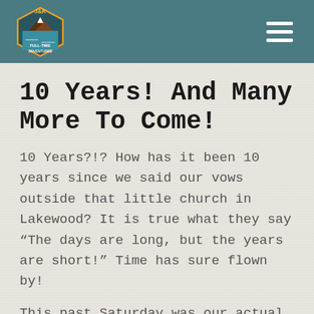J&K Full-Time Adventures logo and navigation
10 Years! And Many More To Come!
10 Years?!? How has it been 10 years since we said our vows outside that little church in Lakewood? It is true what they say "The days are long, but the years are short!" Time has sure flown by!
This past Saturday was our actual anniversary! To celebrate we treated our